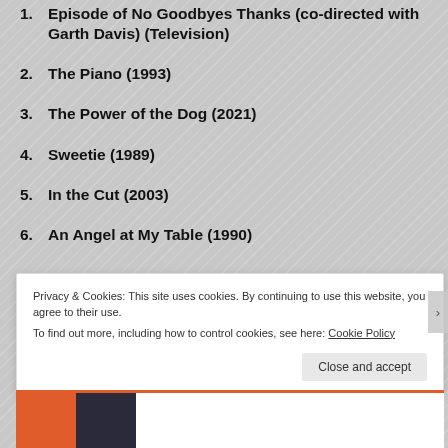1. Episode of No Goodbyes Thanks (co-directed with Garth Davis) (Television)
2. The Piano (1993)
3. The Power of the Dog (2021)
4. Sweetie (1989)
5. In the Cut (2003)
6. An Angel at My Table (1990)
Privacy & Cookies: This site uses cookies. By continuing to use this website, you agree to their use. To find out more, including how to control cookies, see here: Cookie Policy
Close and accept